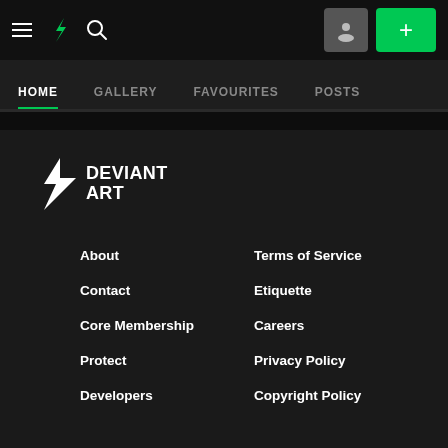[Figure (screenshot): DeviantArt website top navigation bar with hamburger menu, DA logo, search icon, user avatar button, and green plus button]
HOME  GALLERY  FAVOURITES  POSTS
[Figure (logo): DeviantArt logo with lightning bolt icon and DEVIANT ART text in white on dark background]
About
Terms of Service
Contact
Etiquette
Core Membership
Careers
Protect
Privacy Policy
Developers
Copyright Policy